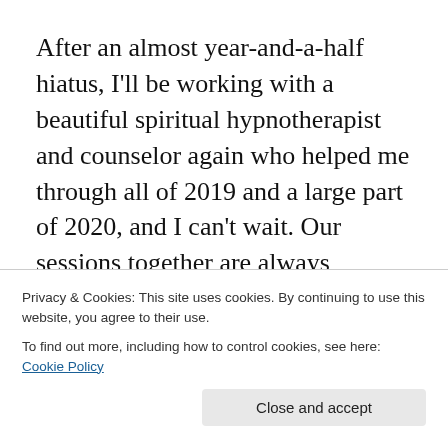After an almost year-and-a-half hiatus, I'll be working with a beautiful spiritual hypnotherapist and counselor again who helped me through all of 2019 and a large part of 2020, and I can't wait. Our sessions together are always magical and we never know what will come up to be healed.
Privacy & Cookies: This site uses cookies. By continuing to use this website, you agree to their use.
To find out more, including how to control cookies, see here: Cookie Policy